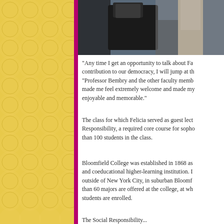[Figure (photo): Photograph of people in a room, including someone seated in a dark chair, partially cropped at the top of the page]
"Any time I get an opportunity to talk about Fa... contribution to our democracy, I will jump at th... "Professor Bembry and the other faculty memb... made me feel extremely welcome and made my... enjoyable and memorable."
The class for which Felicia served as guest lect... Responsibility, a required core course for sopho... than 100 students in the class.
Bloomfield College was established in 1868 as... and coeducational higher-learning institution. I... outside of New York City, in suburban Bloomf... than 60 majors are offered at the college, at wh... students are enrolled.
The Social Responsibility...